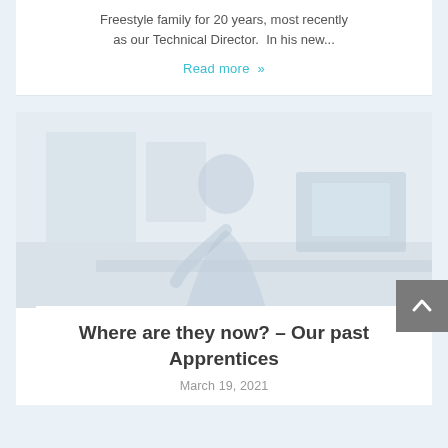Freestyle family for 20 years, most recently as our Technical Director.  In his new...
Read more »
[Figure (photo): Faded photo of a person sitting at a desk, appearing to work, with office equipment visible in the background.]
Where are they now? – Our past Apprentices
March 19, 2021